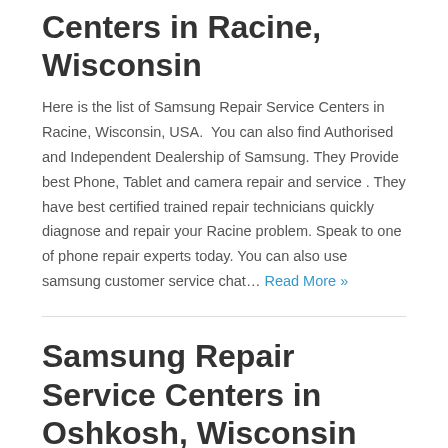Centers in Racine, Wisconsin
Here is the list of Samsung Repair Service Centers in Racine, Wisconsin, USA.  You can also find Authorised and Independent Dealership of Samsung. They Provide best Phone, Tablet and camera repair and service . They have best certified trained repair technicians quickly diagnose and repair your Racine problem. Speak to one of phone repair experts today. You can also use samsung customer service chat… Read More »
Samsung Repair Service Centers in Oshkosh, Wisconsin
Here is the list of Samsung Repair Service Centers